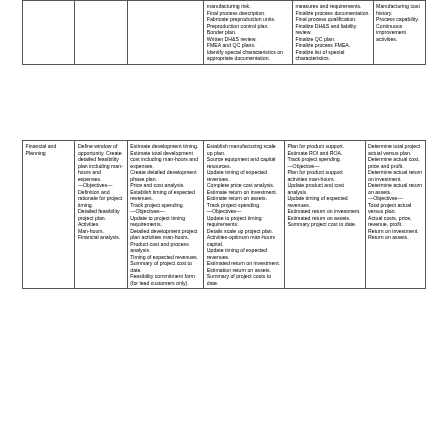|  |  |  |  |  |  |
| --- | --- | --- | --- | --- | --- |
|  |  | manufacturing risk. Final process description. Fabricate preproduction units. Preproduction control plan. Bonder plan. Written DH&S review. FMEA and QC plans. Identify special characteristics on appropriate documentation. | measures and requirements. Finalize process documentation. Final process qualification. Finalize DH&S and liability review. Finalize QC plan. Finalize process FMEA. Finalize list of special characteristics. | Manufacturing cost history. Process capability. Continuous improvement activities. |
| Financial and Planning |  |  |  |  |  |
| --- | --- | --- | --- | --- | --- |
| Financial and Planning | Define window of opportunity. Create detailed feasibility plan including man-hours and expenses. —Objectives— Definition and rationale for project timing. Detailed feasibility project plan. Activities. Man-hours. Financial analysis. | Estimate development timing. Estimate total development cost including man-hours and expenses. Create detailed development phase plan. Price and cost analysis. Establish timing of expected revenues. Track project spending. —Objectives— Update to project timing requirements. Detailed development project plan activities man-hours. Product cost and process analysis. Timing of expected revenues. Summary of project cost to date. Feasibility commitment form (for lead customers only). | Establish manufacturing scale up plan. Source equipment and capital resources. Update timing of expected revenues. Complete price cost analysis. Estimate return on investment. Estimate return on assets. Track project spending. —Objectives— Update to project timing requirements. Details scale up project plan. Activities-optimum man-hours capital. Update timing of expected revenues. Estimated return on investment. Estimation return on assets. Summary of project costs to date. | Plan for product support. Estimate ROI and ROA. Track project spending. —Objective— Plan for product support activities man-hours. Update product and cost analysis. Update timing of expected revenues. Estimated return on investment. Estimated return on assets. Summary project cost to date. | Determine total project actual versus plan. Determine actual cost, price and profit. Determine actual return on investment. Determine actual return on assets. —Objectives— Total project actual versus plan. Actual costs, price, revenue, profit. Return on investment. Return on assets. |
Example Stage Activities
Companies have customized the specific project activities and gate questions to both match their business environment and management appetite for getting into the weeds of project management. It is at this level that problems with the State and Gate process develop. Many times a company